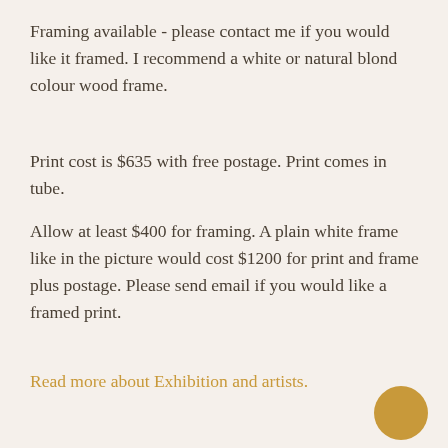Framing available - please contact me if you would like it framed. I recommend a white or natural blond colour wood frame.
Print cost is $635 with free postage. Print comes in tube.
Allow at least $400 for framing. A plain white frame like in the picture would cost $1200 for print and frame plus postage. Please send email if you would like a framed print.
Read more about Exhibition and artists.
< Art
Previous / Next
Related products